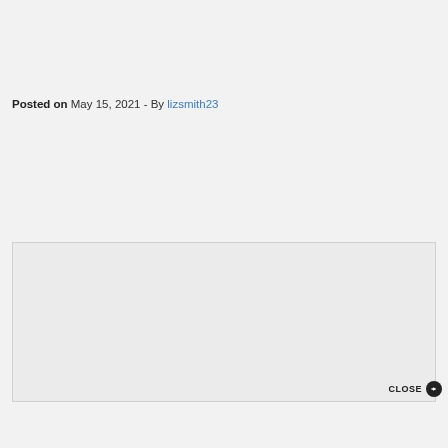Posted on May 15, 2021 - By lizsmith23
[Figure (other): Empty advertisement or content box with light gray background and border, with a CLOSE button in the bottom-right corner]